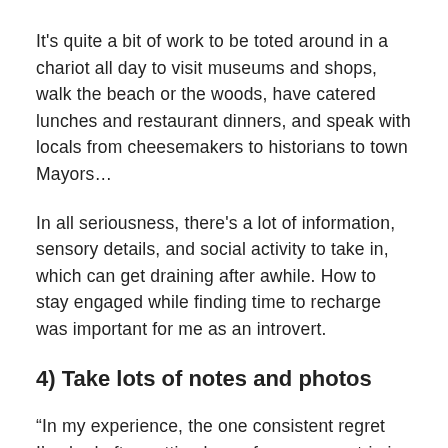It's quite a bit of work to be toted around in a chariot all day to visit museums and shops, walk the beach or the woods, have catered lunches and restaurant dinners, and speak with locals from cheesemakers to historians to town Mayors...
In all seriousness, there's a lot of information, sensory details, and social activity to take in, which can get draining after awhile. How to stay engaged while finding time to recharge was important for me as an introvert.
4) Take lots of notes and photos
“In my experience, the one consistent regret I’ve had after getting home from a press trip is that I assumed some experience or another, some subject or another,